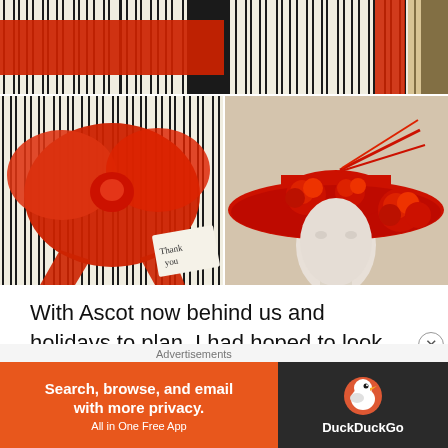[Figure (photo): Four-panel image collage: top panel shows black and white vertical stripes with red ribbon crossing horizontally; bottom-left panel shows a large red satin bow with a 'thank you' gift tag on black-and-white striped box; bottom-right panel shows a white mannequin head wearing a wide-brimmed red hat decorated with red fabric flowers and feathers.]
With Ascot now behind us and holidays to plan, I had hoped to look forward to a couple of weeks of downtime
Advertisements
[Figure (screenshot): DuckDuckGo advertisement banner: orange left section with text 'Search, browse, and email with more privacy. All in One Free App'; dark right section with DuckDuckGo duck logo and brand name.]